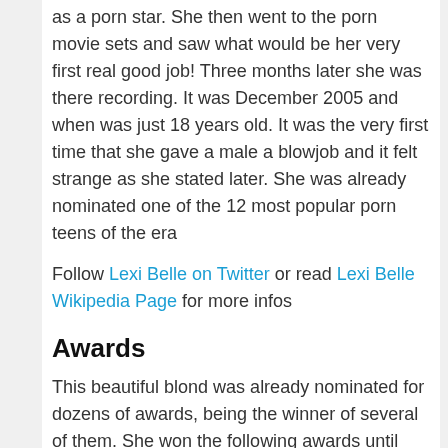as a porn star. She then went to the porn movie sets and saw what would be her very first real good job! Three months later she was there recording. It was December 2005 and when was just 18 years old. It was the very first time that she gave a male a blowjob and it felt strange as she stated later. She was already nominated one of the 12 most popular porn teens of the era
Follow Lexi Belle on Twitter or read Lexi Belle Wikipedia Page for more infos
Awards
This beautiful blond was already nominated for dozens of awards, being the winner of several of them. She won the following awards until now:
2008: Adam Film World Guide Award – Teen Dream of the Year; 2010: AVN Award – Best All-Girls Couples Sex Scene – Field of Schemes ; 2010: AVN Award – Best New Web Starlet; 2010: XRCO Award – Cream Dream; 2010: F.A.M.E. Award – Favorite Underrated Starlet; 2010: Orgazmik Award – Best Female Performer; 2011: AVN Award – Best Supporting Actress